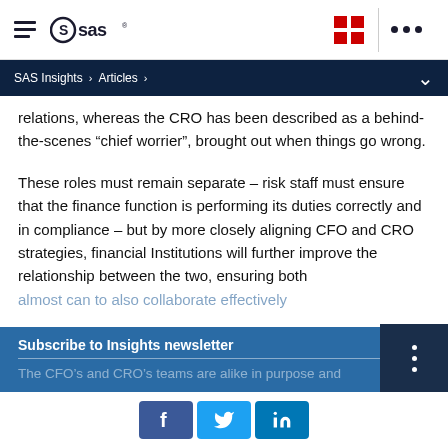SAS logo and navigation bar
SAS Insights > Articles >
relations, whereas the CRO has been described as a behind-the-scenes “chief worrier”, brought out when things go wrong.
These roles must remain separate – risk staff must ensure that the finance function is performing its duties correctly and in compliance – but by more closely aligning CFO and CRO strategies, financial Institutions will further improve the relationship between the two, ensuring both almost can to also collaborate effectively
Subscribe to Insights newsletter
The CFO’s and CRO’s teams are alike in purpose and